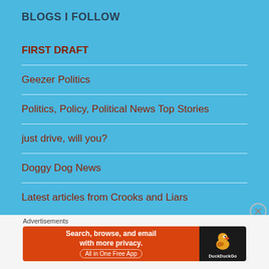BLOGS I FOLLOW
FIRST DRAFT
Geezer Politics
Politics, Policy, Political News Top Stories
just drive, will you?
Doggy Dog News
Latest articles from Crooks and Liars
Advertisements
[Figure (other): DuckDuckGo advertisement banner: Search, browse, and email with more privacy. All in One Free App. Shows DuckDuckGo duck logo on dark background.]